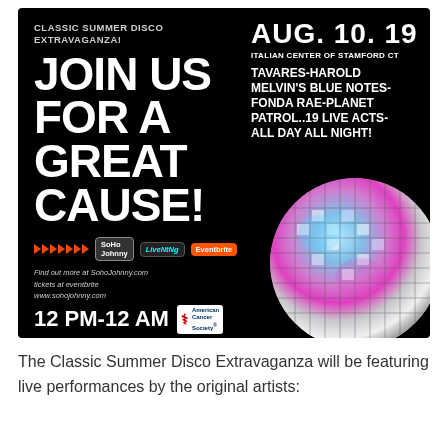[Figure (infographic): Black background event poster for Classic Summer Disco Extravaganza on Aug 10, 2019 at Italian Center of Stamford CT. Features large white bold text 'JOIN US FOR A GREAT CAUSE!', performer names (Tavares, Harold Melvin's Blue Notes, Fonda Rae, Planet Patrol, 19 live acts), time 12 PM-12 AM, SoHo Johnny, LiveNation, Eventbrite logos, American Cancer Society logo, and a disco ball photo.]
The Classic Summer Disco Extravaganza will be featuring live performances by the original artists: